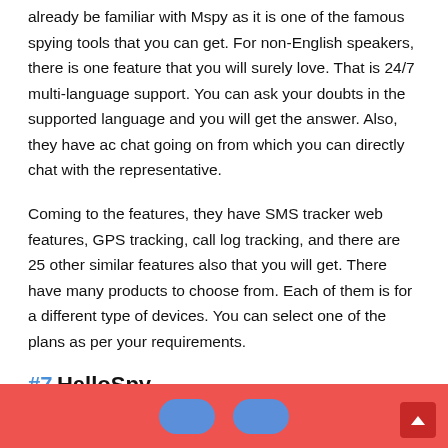already be familiar with Mspy as it is one of the famous spying tools that you can get. For non-English speakers, there is one feature that you will surely love. That is 24/7 multi-language support. You can ask your doubts in the supported language and you will get the answer. Also, they have ac chat going on from which you can directly chat with the representative.
Coming to the features, they have SMS tracker web features, GPS tracking, call log tracking, and there are 25 other similar features also that you will get. There have many products to choose from. Each of them is for a different type of devices. You can select one of the plans as per your requirements.
#7 HelloSpy
HelloSpy is our next choice in the list of the best SMS tracker apps
​​​​​ ​​​​​